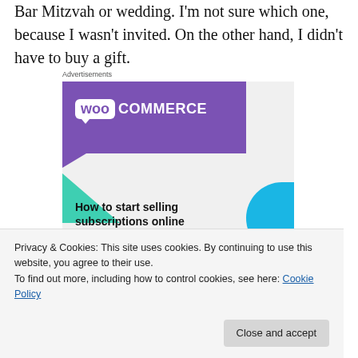Bar Mitzvah or wedding. I'm not sure which one, because I wasn't invited. On the other hand, I didn't have to buy a gift.
Advertisements
[Figure (screenshot): WooCommerce advertisement: 'How to start selling subscriptions online' with purple WooCommerce logo banner, teal triangle and blue arc decorative shapes on light grey background.]
Privacy & Cookies: This site uses cookies. By continuing to use this website, you agree to their use.
To find out more, including how to control cookies, see here: Cookie Policy
Close and accept